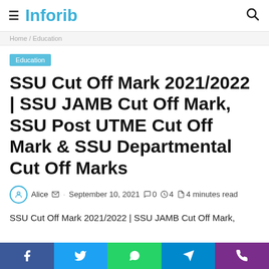Inforib
Home / Education
Education
SSU Cut Off Mark 2021/2022 | SSU JAMB Cut Off Mark, SSU Post UTME Cut Off Mark & SSU Departmental Cut Off Marks
Alice · September 10, 2021 · 0 · 4 · 4 minutes read
SSU Cut Off Mark 2021/2022 | SSU JAMB Cut Off Mark,